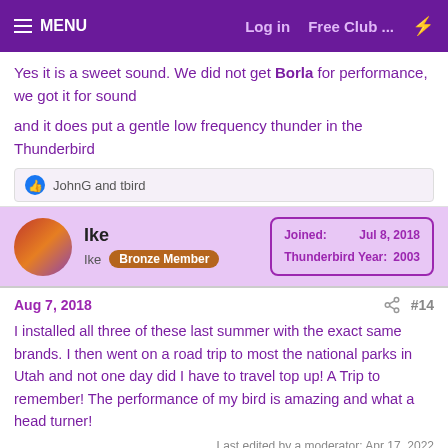MENU | Log in | Free Club ... | ⚡
Yes it is a sweet sound. We did not get Borla for performance, we got it for sound

and it does put a gentle low frequency thunder in the Thunderbird
JohnG and tbird
Ike
Ike Bronze Member
Joined: Jul 8, 2018
Thunderbird Year: 2003
Aug 7, 2018 #14
I installed all three of these last summer with the exact same brands. I then went on a road trip to most the national parks in Utah and not one day did I have to travel top up! A Trip to remember! The performance of my bird is amazing and what a head turner!
Last edited by a moderator: Apr 17, 2022
JohnG, Elaineinwa, ChuckH262 and 3 others